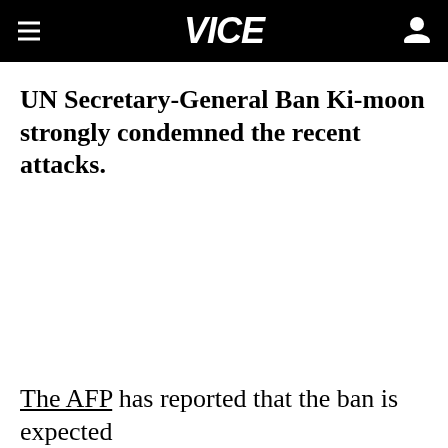VICE
UN Secretary-General Ban Ki-moon strongly condemned the recent attacks.
The AFP has reported that the ban is expected